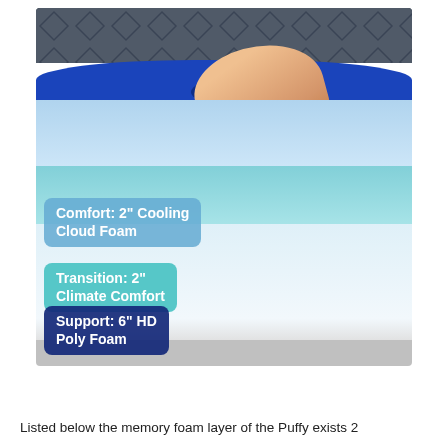[Figure (photo): Cross-section of a Puffy mattress being pressed by a hand, showing three labeled foam layers: Comfort: 2" Cooling Cloud Foam (light blue), Transition: 2" Climate Comfort (teal), Support: 6" HD Poly Foam (dark blue). The top cover has a quilted grey fabric pattern with a bright blue foam layer beneath.]
Listed below the memory foam layer of the Puffy exists 2